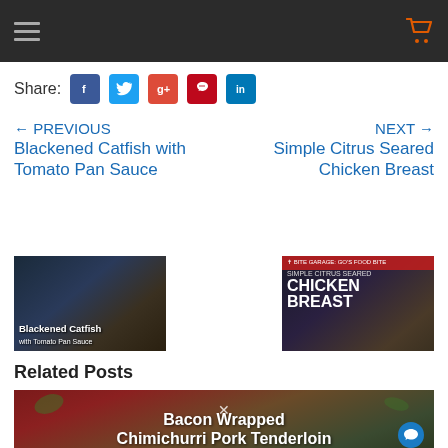Navigation bar with hamburger menu and cart icon
Share:
[Figure (other): Social media share buttons: Facebook, Twitter, Google+, Pinterest, LinkedIn]
← PREVIOUS
Blackened Catfish with Tomato Pan Sauce
NEXT →
Simple Citrus Seared Chicken Breast
[Figure (photo): Thumbnail image of Blackened Catfish with Tomato Pan Sauce dish]
[Figure (photo): Thumbnail image of Simple Citrus Seared Chicken Breast with red banner header]
Related Posts
[Figure (photo): Food photo: Bacon Wrapped Chimichurri Pork Tenderloin on red plate with herbs]